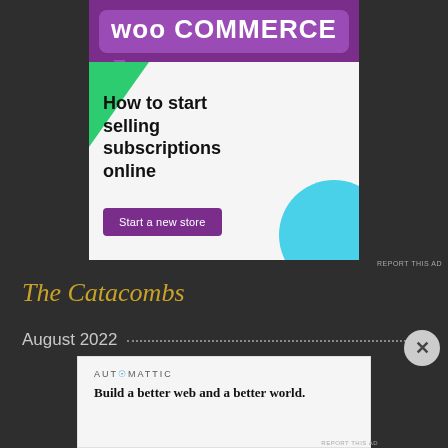[Figure (infographic): WooCommerce advertisement banner with purple header showing 'WooCommerce' logo in speech bubble, a green triangle and blue circle decorative elements, headline text 'How to start selling subscriptions online' and a purple 'Start a new store' button]
REPORT THIS AD
The Catacombs
August 2022
[Figure (infographic): Automattic advertisement: 'Build a better web and a better world.']
REPORT THIS AD